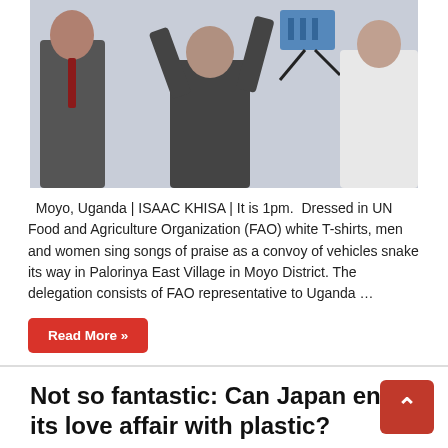[Figure (photo): Photo of people in UN FAO white T-shirts, with equipment, in Moyo District Uganda]
Moyo, Uganda | ISAAC KHISA | It is 1pm.  Dressed in UN Food and Agriculture Organization (FAO) white T-shirts, men and women sing songs of praise as a convoy of vehicles snake its way in Palorinya East Village in Moyo District. The delegation consists of FAO representative to Uganda …
Read More »
Not so fantastic: Can Japan end its love affair with plastic?
March 20, 2019  NEWS ANALYSIS  0
[Figure (photo): Partial image of plastic items or pie chart shapes related to Japan plastic topic]